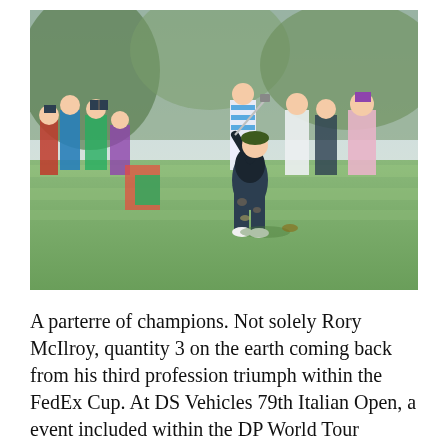[Figure (photo): A golfer in dark clothing hits a shot on a golf course fairway with a follow-through pose, watched by a crowd of spectators and photographers on the left side, and a few officials/spectators in the background. The setting is a lush green golf course on a bright sunny day.]
A parterre of champions. Not solely Rory McIlroy, quantity 3 on the earth coming back from his third profession triumph within the FedEx Cup. At DS Vehicles 79th Italian Open, a event included within the DP World Tour